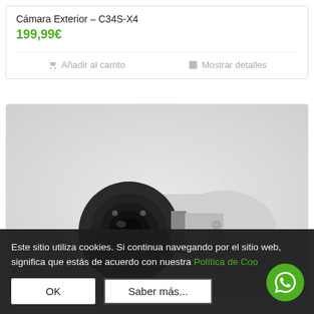Cámara Exterior – C34S-X4
199,99€
🛒 Añadir al carrito    📋 Mostrar detalles
[Figure (photo): Exterior security camera (bullet style) with a wide-angle lens and WiFi antenna, shown on a light grey background.]
Este sitio utiliza cookies. Si continua navegando por el sitio web, significa que estás de acuerdo con nuestra Política de Cookies
OK   Saber más...